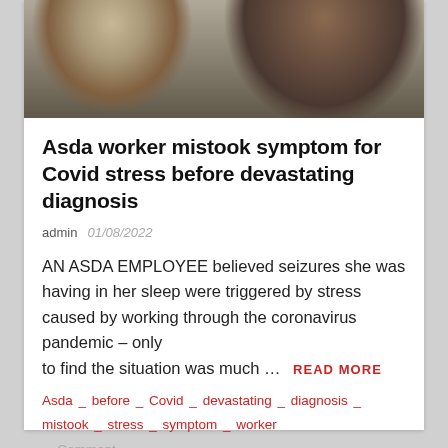[Figure (photo): Photo of two people, cropped at head level — a man with short grey-brown hair on the left and a woman with long dark hair on the right]
Asda worker mistook symptom for Covid stress before devastating diagnosis
admin  01/08/2022
AN ASDA EMPLOYEE believed seizures she was having in her sleep were triggered by stress caused by working through the coronavirus pandemic – only to find the situation was much …  READ MORE
Asda _ before _ Covid _ devastating _ diagnosis _ mistook _ stress _ symptom _ worker
_ Comment